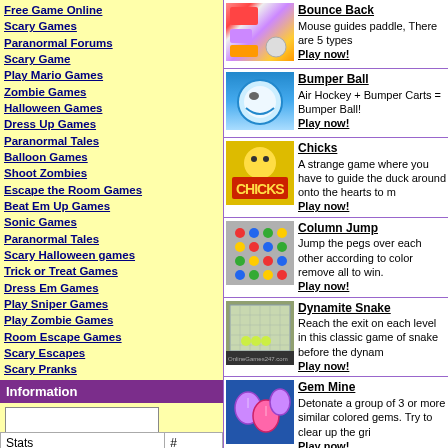Free Game Online
Scary Games
Paranormal Forums
Scary Game
Play Mario Games
Zombie Games
Halloween Games
Dress Up Games
Paranormal Tales
Balloon Games
Shoot Zombies
Escape the Room Games
Beat Em Up Games
Sonic Games
Paranormal Tales
Scary Halloween games
Trick or Treat Games
Dress Em Games
Play Sniper Games
Play Zombie Games
Room Escape Games
Scary Escapes
Scary Pranks
Car Parking Games
Played Free Online
Zombie Shooters
Latest Games
Submit Link
Information
| Stats | # |
| --- | --- |
| Total Games | 5934 |
| Total Plays | 8388607 |
Bounce Back
Mouse guides paddle, There are 5 types
Play now!
Bumper Ball
Air Hockey + Bumper Carts = Bumper Ball!
Play now!
Chicks
A strange game where you have to guide the duck around onto the hearts to m
Play now!
Column Jump
Jump the pegs over each other according to color remove all to win.
Play now!
Dynamite Snake
Reach the exit on each level in this classic game of snake before the dynam
Play now!
Gem Mine
Detonate a group of 3 or more similar colored gems. Try to clear up the gri
Play now!